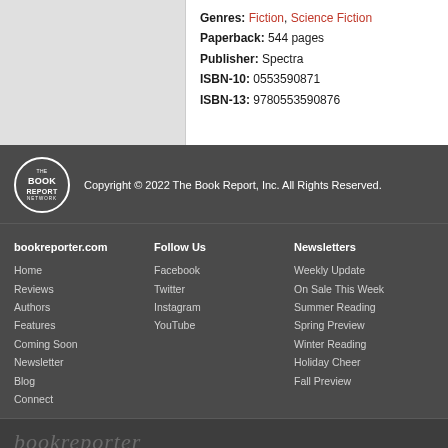Genres: Fiction, Science Fiction
Paperback: 544 pages
Publisher: Spectra
ISBN-10: 0553590871
ISBN-13: 9780553590876
Copyright © 2022 The Book Report, Inc. All Rights Reserved.
bookreporter.com
Home
Reviews
Authors
Features
Coming Soon
Newsletter
Blog
Connect
Follow Us
Facebook
Twitter
Instagram
YouTube
Newsletters
Weekly Update
On Sale This Week
Summer Reading
Spring Preview
Winter Reading
Holiday Cheer
Fall Preview
bookreporter